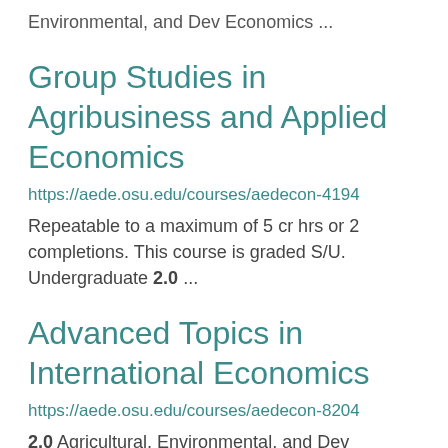Environmental, and Dev Economics ...
Group Studies in Agribusiness and Applied Economics
https://aede.osu.edu/courses/aedecon-4194
Repeatable to a maximum of 5 cr hrs or 2 completions. This course is graded S/U. Undergraduate 2.0 ...
Advanced Topics in International Economics
https://aede.osu.edu/courses/aedecon-8204
2.0 Agricultural, Environmental, and Dev Economics ...